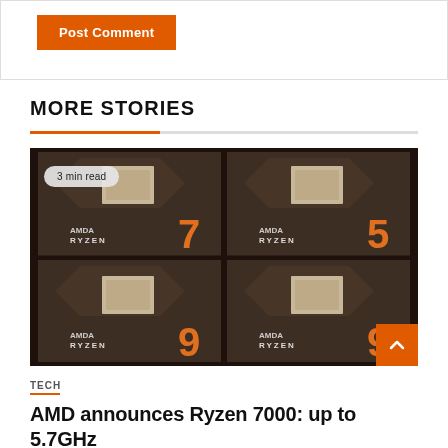Post Comment
MORE STORIES
[Figure (photo): Four AMD Ryzen 7000 series processor boxes arranged in a 2x2 grid, showing Ryzen 7, Ryzen 5, Ryzen 9, and Ryzen 9 models with orange numbering on dark grey boxes. A '3 min read' badge is overlaid on the top-left.]
TECH
AMD announces Ryzen 7000: up to 5.7GHz